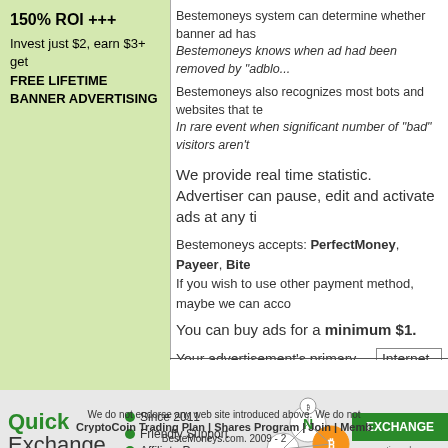150% ROI +++
Invest just $2, earn $3+ get FREE LIFETIME BANNER ADVERTISING
Bestemoneys system can determine whether banner ad has been seen by real person. Bestemoneys knows when ad had been removed by "adblock"...
Bestemoneys also recognizes most bots and websites that tend to send fake traffic. In rare event when significant number of "bad" visitors aren't...
We provide real time statistic.
Advertiser can pause, edit and activate ads at any t...
Bestemoneys accepts: PerfectMoney, Payeer, Bite...
If you wish to use other payment method, maybe we can acco...
You can buy ads for a minimum $1.
Your advertisement's primary category: Internet Sh...
[Figure (infographic): Quick Exchange banner advertisement with network graphic showing N and Bitcoin logos, green EXCHANGE button, bullet points: Since 2011, Friendly Support, Affiliate Program, magneticexchange.c...]
We do not endorse any web site introduced above. We do not...
CryptoCoin Trading Plan | Shares Program | Join | Memb...
BesteMoneys.com. 2009 - 2...